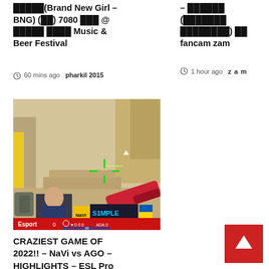🆕🆕🆕🆕🆕(Brand New Girl – BNG) (🆕🆕) 7080 🆕🆕🆕 @ 🆕🆕🆕🆕🆕 🆕🆕🆕🆕 Music & Beer Festival
60 mins ago  pharkil 2015
– 🆕🆕🆕🆕🆕🆕 (🆕🆕🆕🆕🆕🆕🆕 🆕🆕🆕🆕🆕🆕🆕🆕) 🆕🆕 fancam zam
1 hour ago  z a m
[Figure (screenshot): Screenshot of a Counter-Strike/FPS game showing a desert map from the player's perspective with a crosshair, and an in-game overlay showing player 'S1MPLE' with Ukrainian flag, and an 'Esport' branding bar at the bottom.]
CRAZIEST GAME OF 2022!! – NaVi vs AGO – HIGHLIGHTS – ESL Pro League 2022